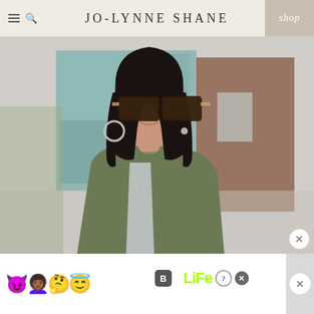JO-LYNNE SHANE
[Figure (photo): A woman with dark hair wearing large tortoiseshell sunglasses, hoop earrings, and an olive/khaki green jacket, smiling, photographed outdoors with a blurred urban background of glass and brick buildings.]
[Figure (screenshot): Red advertisement banner for BitLife mobile game featuring emojis (devil, women with arms raised, angel) and the text 'BitLife REAL CHOICES' with question mark and X icons.]